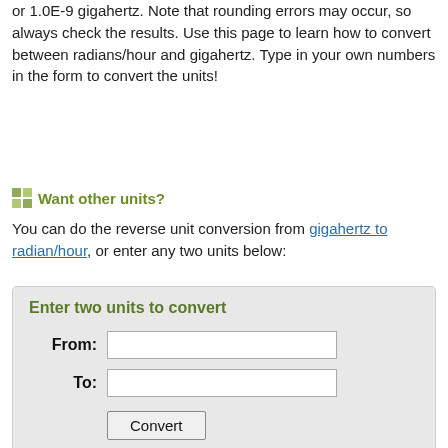or 1.0E-9 gigahertz. Note that rounding errors may occur, so always check the results. Use this page to learn how to convert between radians/hour and gigahertz. Type in your own numbers in the form to convert the units!
Want other units?
You can do the reverse unit conversion from gigahertz to radian/hour, or enter any two units below:
Enter two units to convert
From:
To:
Convert